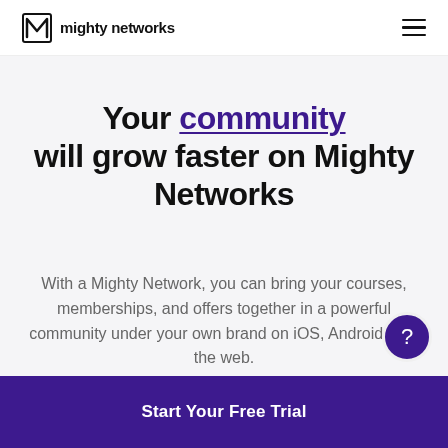mighty networks
Your community will grow faster on Mighty Networks
With a Mighty Network, you can bring your courses, memberships, and offers together in a powerful community under your own brand on iOS, Android, and the web.
Start Your Free Trial